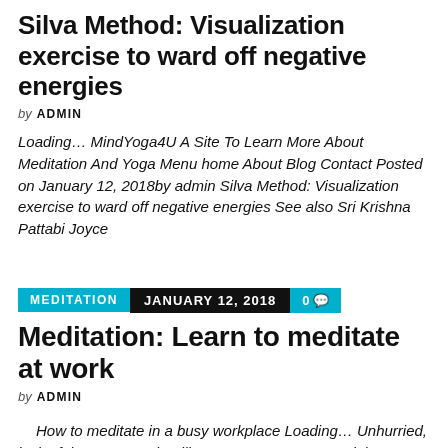Silva Method: Visualization exercise to ward off negative energies
by ADMIN
Loading… MindYoga4U A Site To Learn More About Meditation And Yoga Menu home About Blog Contact Posted on January 12, 2018by admin Silva Method: Visualization exercise to ward off negative energies See also Sri Krishna Pattabi Joyce
MEDITATION   JANUARY 12, 2018   0 💬
Meditation: Learn to meditate at work
by ADMIN
How to meditate in a busy workplace Loading… Unhurried, lack of time, stress, deadlines, stress … you sound these words? On average we spend a third of our day to day in our workplace , and that causes that often one can not be everything you want relaxed.